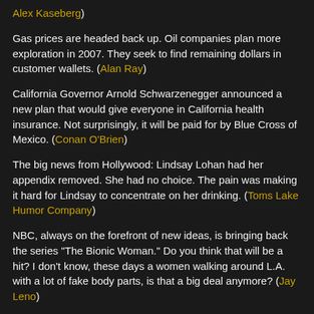Alex Kaseberg)
Gas prices are headed back up. Oil companies plan more exploration in 2007. They seek to find remaining dollars in customer wallets. (Alan Ray)
California Governor Arnold Schwarzenegger announced a new plan that would give everyone in California health insurance. Not surprisingly, it will be paid for by Blue Cross of Mexico. (Conan O'Brien)
The big news from Hollywood: Lindsay Lohan had her appendix removed. She had no choice. The pain was making it hard for Lindsay to concentrate on her drinking. (Toms Lake Humor Company)
NBC, always on the forefront of new ideas, is bringing back the series "The Bionic Woman." Do you think that will be a hit? I don't know, these days a women walking around L.A. with a lot of fake body parts, is that a big deal anymore? (Jay Leno)